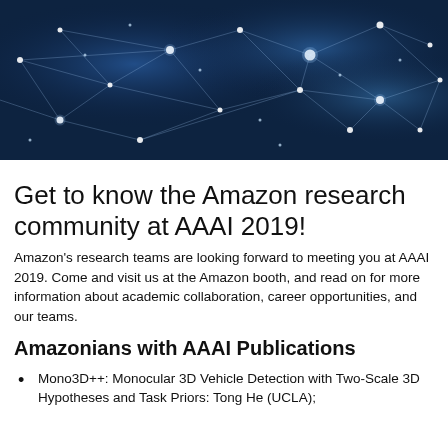[Figure (photo): Abstract blue network/neural connections background image with glowing nodes and connecting lines on a dark blue background]
Get to know the Amazon research community at AAAI 2019!
Amazon's research teams are looking forward to meeting you at AAAI 2019. Come and visit us at the Amazon booth, and read on for more information about academic collaboration, career opportunities, and our teams.
Amazonians with AAAI Publications
Mono3D++: Monocular 3D Vehicle Detection with Two-Scale 3D Hypotheses and Task Priors: Tong He (UCLA);